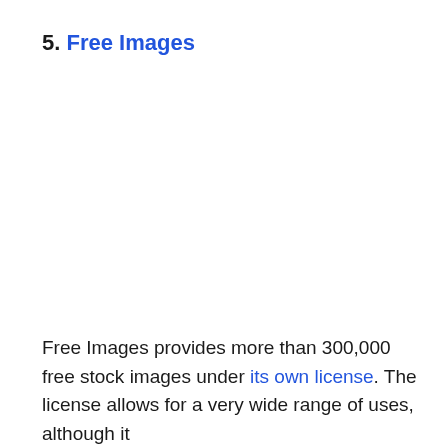5. Free Images
Free Images provides more than 300,000 free stock images under its own license. The license allows for a very wide range of uses, although it